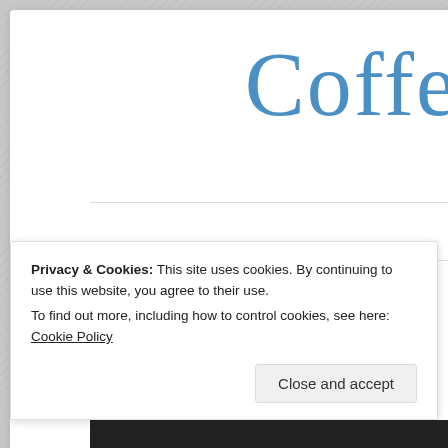Coffe
TAG ARCHIVES: UNLEAVENED KITCHEN
Privacy & Cookies: This site uses cookies. By continuing to use this website, you agree to their use.
To find out more, including how to control cookies, see here: Cookie Policy
Close and accept